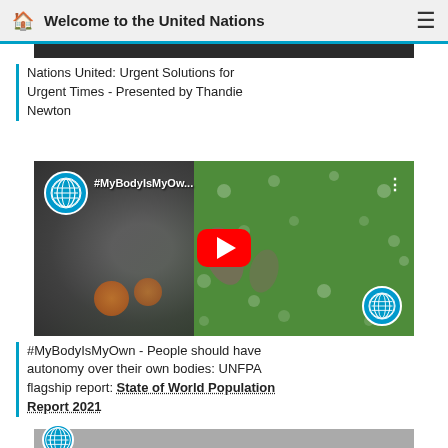Welcome to the United Nations
[Figure (screenshot): Partial video thumbnail (cropped top) from Nations United video]
Nations United: Urgent Solutions for Urgent Times - Presented by Thandie Newton
[Figure (screenshot): YouTube video thumbnail for #MyBodyIsMyOwn - UNFPA video showing a smiling woman on colorful background with YouTube play button, UN logo, and title #MyBodyIsMyOw...]
#MyBodyIsMyOwn - People should have autonomy over their own bodies: UNFPA flagship report: State of World Population Report 2021
[Figure (screenshot): Partial video thumbnail at bottom (cropped) with UN logo circle visible]